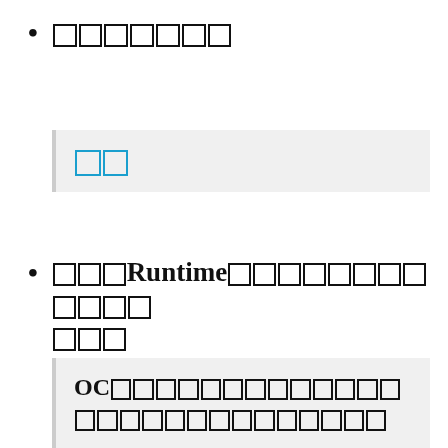〇〇〇〇〇〇〇
〇〇
〇〇〇Runtime〇〇〇〇〇〇〇〇〇〇〇
OC〇〇〇〇〇〇〇〇〇〇〇〇〇〇〇〇〇〇〇〇〇〇〇〇〇〇〇〇〇〇